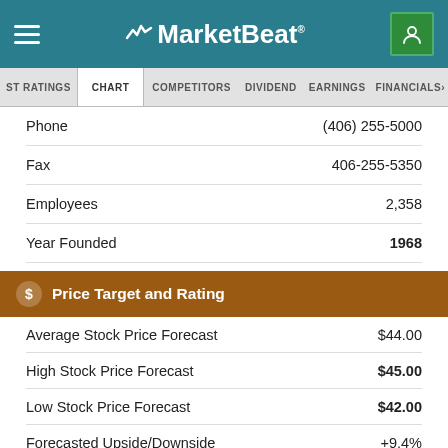MarketBeat
ST RATINGS  CHART  COMPETITORS  DIVIDEND  EARNINGS  FINANCIALS
| Field | Value |
| --- | --- |
| Phone | (406) 255-5000 |
| Fax | 406-255-5350 |
| Employees | 2,358 |
| Year Founded | 1968 |
$ Price Target and Rating
| Field | Value |
| --- | --- |
| Average Stock Price Forecast | $44.00 |
| High Stock Price Forecast | $45.00 |
| Low Stock Price Forecast | $42.00 |
| Forecasted Upside/Downside | +9.4% |
| Consensus Rating | Buy |
| Rating Score (0-4) | 3.00 |
| Research Coverage | 3 Analysts |